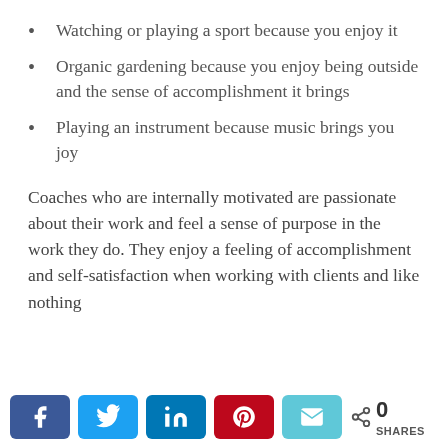Watching or playing a sport because you enjoy it
Organic gardening because you enjoy being outside and the sense of accomplishment it brings
Playing an instrument because music brings you joy
Coaches who are internally motivated are passionate about their work and feel a sense of purpose in the work they do. They enjoy a feeling of accomplishment and self-satisfaction when working with clients and like nothing
Share buttons: Facebook, Twitter, LinkedIn, Pinterest, Email | 0 SHARES